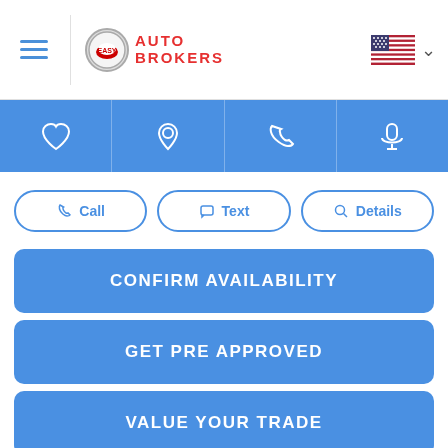[Figure (logo): Easy Auto Brokers logo with hamburger menu, circular logo badge, AUTO BROKERS text in red, and US flag with dropdown chevron]
[Figure (infographic): Blue navigation bar with four icon buttons: heart (favorites), location pin, phone, microphone]
Call
Text
Details
CONFIRM AVAILABILITY
GET PRE APPROVED
VALUE YOUR TRADE
[Figure (logo): CarStory logo with gear icons and text 'analyzing the market']
[Figure (illustration): Blue circular chat/messenger icon overlay in the bottom right]